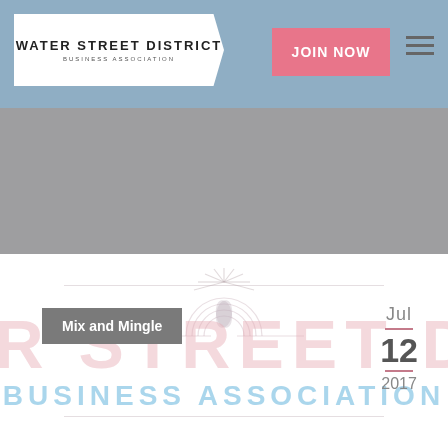WATER STREET DISTRICT BUSINESS ASSOCIATION
JOIN NOW
[Figure (illustration): Gray hero/banner image area]
Mix and Mingle
[Figure (logo): Water Street District Business Association watermark logo with decorative sun emblem and text: ATER STREET DISTR... BUSINESS ASSOCIATION]
Jul
12
2017